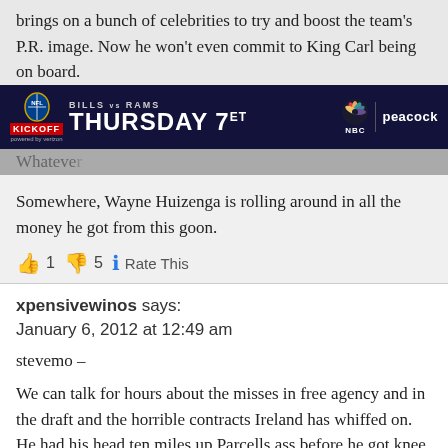brings on a bunch of celebrities to try and boost the team's P.R. image. Now he won't even commit to King Carl being on board.
[Figure (screenshot): NFL Kickoff advertisement banner: Bills vs Rams, Thursday 7ET on NBC/Peacock, sponsored by Verizon]
Whatever
Somewhere, Wayne Huizenga is rolling around in all the money he got from this goon.
👍 1 👎 5 ℹ Rate This
xpensivewinos says:
January 6, 2012 at 12:49 am
stevemo –
We can talk for hours about the misses in free agency and in the draft and the horrible contracts Ireland has whiffed on. He had his head ten miles up Parcells ass before he got knee pads for Ross, so he gets some of that stink if he's going to get any of the praise (not sure what he's done to earn any of the latter).